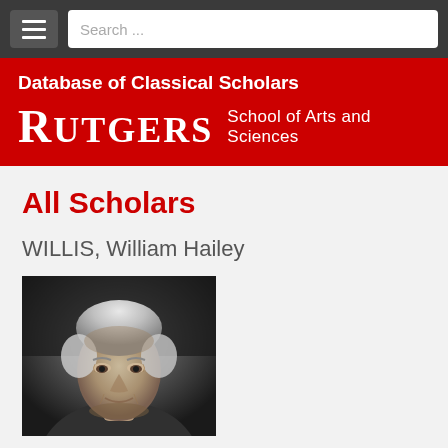Search ...
Database of Classical Scholars
[Figure (logo): Rutgers School of Arts and Sciences logo with wordmark]
All Scholars
WILLIS, William Hailey
[Figure (photo): Black and white portrait photograph of William Hailey Willis, an elderly person with white/grey hair, facing the camera with a neutral expression]